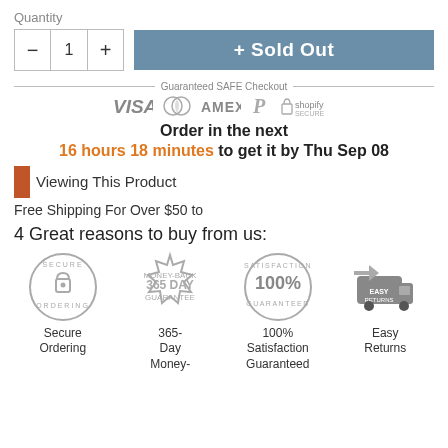Quantity
[Figure (screenshot): Quantity selector with minus, 1, plus buttons and a blue Sold Out button]
[Figure (infographic): Guaranteed SAFE Checkout banner with VISA, Mastercard, AMEX, PayPal, Shopify Secure icons]
Order in the next 16 hours 18 minutes to get it by Thu Sep 08
Viewing This Product
Free Shipping For Over $50 to
4 Great reasons to buy from us:
[Figure (infographic): Four trust badges: Secure Ordering, 365-Day Money-Back Guarantee, 100% Satisfaction Guaranteed, Easy Returns]
Secure Ordering  365-Day Money-  100% Satisfaction Guaranteed  Easy Returns